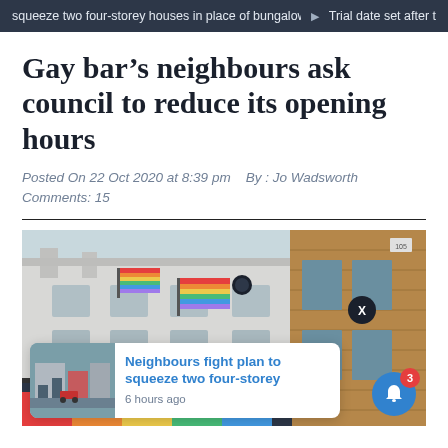squeeze two four-storey houses in place of bungalow  ▶  Trial date set after t
Gay bar's neighbours ask council to reduce its opening hours
Posted On 22 Oct 2020 at 8:39 pm   By : Jo Wadsworth   Comments: 15
[Figure (photo): Photo of a building with rainbow pride flags displayed on the facade, next to a brick building. A popup notification card overlays the bottom-left showing a related article 'Neighbours fight plan to squeeze two four-storey' with a thumbnail and '6 hours ago'. A close X button and a notification bell badge with 3 appear over the image.]